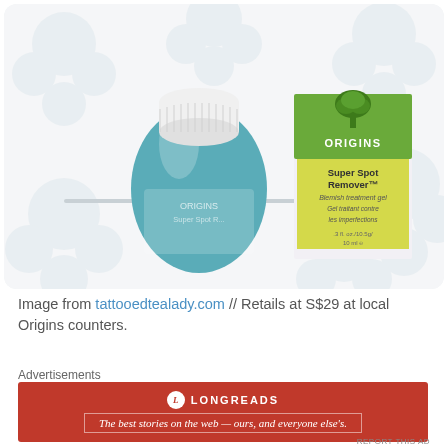[Figure (photo): Photo of Origins Super Spot Remover blemish treatment gel product: a teal/blue bottle with white cap and its packaging box (white box with green tree logo and yellow-green label), placed on a light floral-patterned surface.]
Image from tattooedtealady.com // Retails at S$29 at local Origins counters.
Advertisements
[Figure (other): Longreads advertisement banner: red background with Longreads logo (L in circle) and tagline 'The best stories on the web — ours, and everyone else's.']